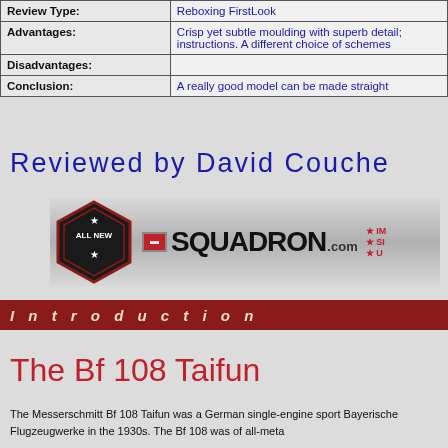|  |  |
| --- | --- |
| Review Type: | Reboxing FirstLook |
| Advantages: | Crisp yet subtle moulding with superb detail; instructions. A different choice of schemes |
| Disadvantages: |  |
| Conclusion: | A really good model can be made straight |
Reviewed by David Couche
[Figure (logo): Squadron.com logo with 'ALL NEW' badge diamond and brand name]
Introduction
The Bf 108 Taifun
The Messerschmitt Bf 108 Taifun was a German single-engine sport Bayerische Flugzeugwerke in the 1930s. The Bf 108 was of all-meta